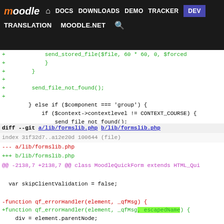moodle DOCS DOWNLOADS DEMO TRACKER DEV | TRANSLATION MOODLE.NET
+            send_stored_file($file, 60 * 60, 0, $forced
+            }
+        }
+
+        send_file_not_found();
+
        } else if ($component === 'group') {
            if ($context->contextlevel != CONTEXT_COURSE) {
                send_file_not_found();
diff --git a/lib/formslib.php b/lib/formslib.php
index 31f32d7..a12e20d 100644 (file)
--- a/lib/formslib.php
+++ b/lib/formslib.php
@@ -2138,7 +2138,7 @@ class MoodleQuickForm extends HTML_Qui

 var skipClientValidation = false;

-function qf_errorHandler(element, _qfMsg) {
+function qf_errorHandler(element, _qfMsg, escapedName) {
    div = element.parentNode;

    if ((div == undefined) || (element.name == undefined)) {
@@ -2147,10 +2147,10 @@ function qf_errorHandler(element, _
    }